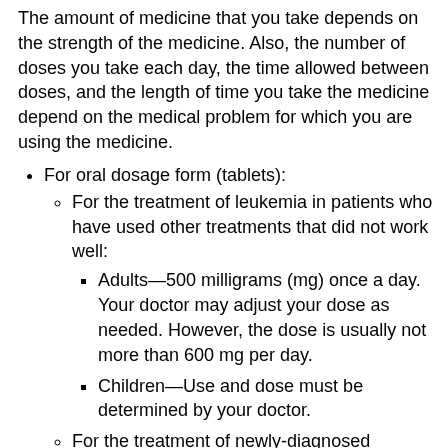The amount of medicine that you take depends on the strength of the medicine. Also, the number of doses you take each day, the time allowed between doses, and the length of time you take the medicine depend on the medical problem for which you are using the medicine.
For oral dosage form (tablets):
For the treatment of leukemia in patients who have used other treatments that did not work well:
Adults—500 milligrams (mg) once a day. Your doctor may adjust your dose as needed. However, the dose is usually not more than 600 mg per day.
Children—Use and dose must be determined by your doctor.
For the treatment of newly-diagnosed leukemia:
Adults—400 milligrams (mg) once a day. Your doctor may adjust your dose as needed. However, the dose is usually not more than 600 mg per day.
Children—Use and dose must be determined